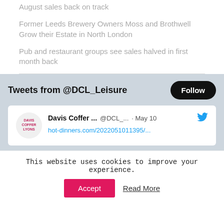August sales back on track
Former Leeds Brewery Owners Moss and Brothwell Grow their Estate in North London
Pub and restaurant groups see sales halved in first month back
Tweets from @DCL_Leisure
Davis Coffer ... @DCL_... · May 10 hot-dinners.com/2022051011395/...
This website uses cookies to improve your experience.